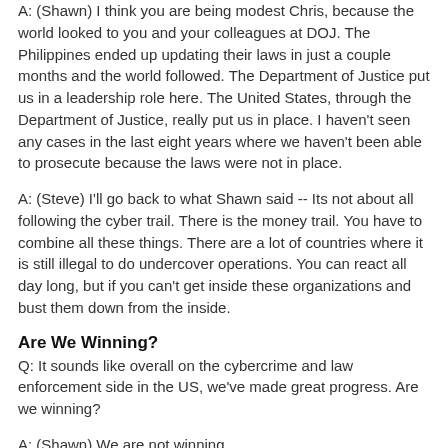A: (Shawn) I think you are being modest Chris, because the world looked to you and your colleagues at DOJ. The Philippines ended up updating their laws in just a couple months and the world followed. The Department of Justice put us in a leadership role here. The United States, through the Department of Justice, really put us in place. I haven't seen any cases in the last eight years where we haven't been able to prosecute because the laws were not in place.
A: (Steve) I'll go back to what Shawn said -- Its not about all following the cyber trail. There is the money trail. You have to combine all these things. There are a lot of countries where it is still illegal to do undercover operations. You can react all day long, but if you can't get inside these organizations and bust them down from the inside.
Are We Winning?
Q: It sounds like overall on the cybercrime and law enforcement side in the US, we've made great progress. Are we winning?
A: (Shawn) We are not winning...